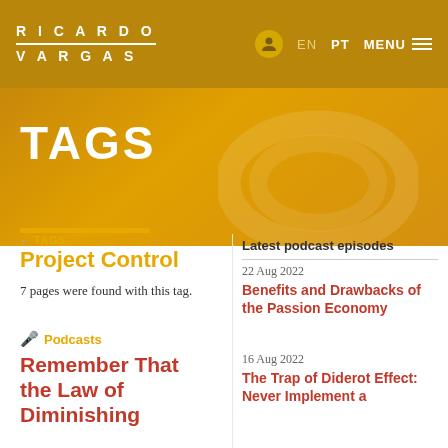RICARDO VARGAS | EN PT MENU
TAGS
← TAGS
Project Control
7 pages were found with this tag.
🎤 Podcasts
Remember That the Law of Diminishing
Latest podcast episodes
22 Aug 2022
Benefits and Drawbacks of the Passion Economy
16 Aug 2022
The Trap of Diderot Effect: Never Implement a